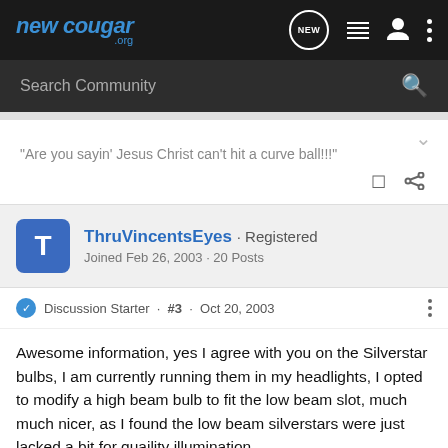newcougar .org
Search Community
"Are you sayin' Jesus Christ can't hit a curve ball!!!"
ThruVincentsEyes · Registered
Joined Feb 26, 2003 · 20 Posts
Discussion Starter · #3 · Oct 20, 2003
Awesome information, yes I agree with you on the Silverstar bulbs, I am currently running them in my headlights, I opted to modify a high beam bulb to fit the low beam slot, much much nicer, as I found the low beam silverstars were just lacked a bit for quaility illumination.
Thanks...